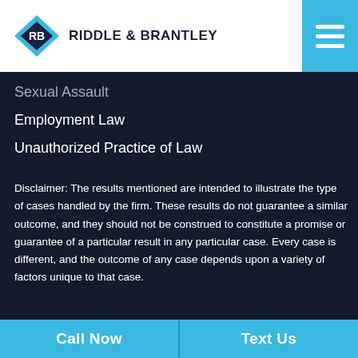[Figure (logo): Riddle & Brantley law firm logo with blue diamond/arrow shape and firm name]
Sexual Assault
Employment Law
Unauthorized Practice of Law
Disclaimer: The results mentioned are intended to illustrate the type of cases handled by the firm. These results do not guarantee a similar outcome, and they should not be construed to constitute a promise or guarantee of a particular result in any particular case. Every case is different, and the outcome of any case depends upon a variety of factors unique to that case.
Call Now | Text Us